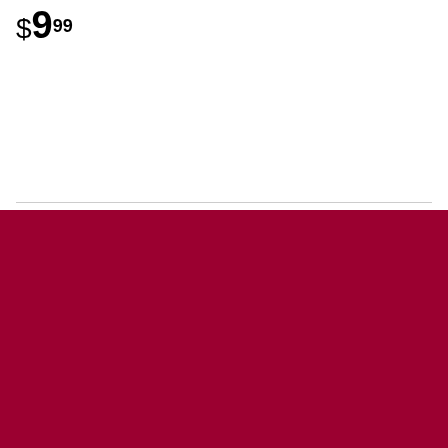$9.99
SITE MENU
Shop Online
Departments
Services
Offers
Location
About Us
Chat with us
Contact Us